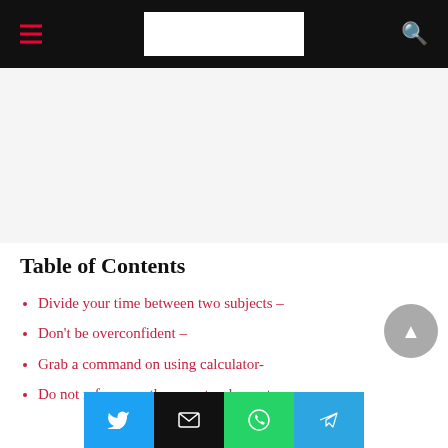[Figure (other): Website navigation header bar with hamburger menu icon on left, white logo box in center, and red search icon on right, on black background]
[Figure (other): Grey advertisement/banner placeholder area]
Table of Contents
Divide your time between two subjects –
Don't be overconfident –
Grab a command on using calculator-
Do not refer more than one teacher notes-
[Figure (other): Social share buttons bar: Twitter (blue), Email (black), WhatsApp (green), Telegram (light blue)]